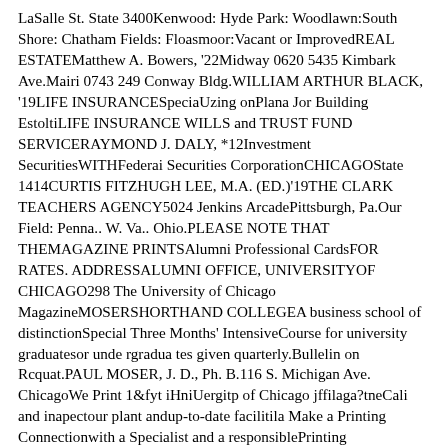LaSalle St. State 3400Kenwood: Hyde Park: Woodlawn:South Shore: Chatham Fields: Floasmoor:Vacant or ImprovedREAL ESTATEMatthew A. Bowers, '22Midway 0620 5435 Kimbark Ave.Mairi 0743 249 Conway Bldg.WILLIAM ARTHUR BLACK, '19LIFE INSURANCESpeciaUzing onPlana Jor Building EstoltiLIFE INSURANCE WILLS and TRUST FUND SERVICERAYMOND J. DALY, *12Investment SecuritiesWITHFederai Securities CorporationCHICAGOState 1414CURTIS FITZHUGH LEE, M.A. (ED.)'19THE CLARK TEACHERS AGENCY5024 Jenkins ArcadePittsburgh, Pa.Our Field: Penna.. W. Va.. Ohio.PLEASE NOTE THAT THEMAGAZINE PRINTSAlumni Professional CardsFOR RATES. ADDRESSALUMNI OFFICE, UNIVERSITYOF CHICAGO298 The University of Chicago MagazineMOSERSHORTHAND COLLEGEA business school of distinctionSpecial Three Months' IntensiveCourse for university graduatesor unde rgradua tes given quarterly.Bullelin on Rcquat.PAUL MOSER, J. D., Ph. B.116 S. Michigan Ave. ChicagoWe Print 1&fyt iHniUergitp of Chicago jffilaga?tneCali and inapectour plant andup-to-date facilitila Make a Printing Connectionwith a Specialist and a responsiblePrinting HouseCATALOGUEandPUBLICATION PRINTERSOne of the lare-est and m o a tcomplete Printing phinta in theUnited Statea Printing and Advertising Advisersand the Cooperative and Clearing Housefor Publications and CataloguesLet us estimate on